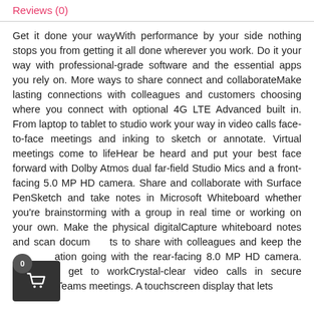Reviews (0)
Get it done your wayWith performance by your side nothing stops you from getting it all done wherever you work. Do it your way with professional-grade software and the essential apps you rely on. More ways to share connect and collaborateMake lasting connections with colleagues and customers choosing where you connect with optional 4G LTE Advanced built in. From laptop to tablet to studio work your way in video calls face-to-face meetings and inking to sketch or annotate. Virtual meetings come to lifeHear be heard and put your best face forward with Dolby Atmos dual far-field Studio Mics and a front-facing 5.0 MP HD camera. Share and collaborate with Surface PenSketch and take notes in Microsoft Whiteboard whether you're brainstorming with a group in real time or working on your own. Make the physical digitalCapture whiteboard notes and scan documents to share with colleagues and keep the conversation going with the rear-facing 8.0 MP HD camera. o get to workCrystal-clear video calls in secure Microsoft Teams meetings. A touchscreen display that lets